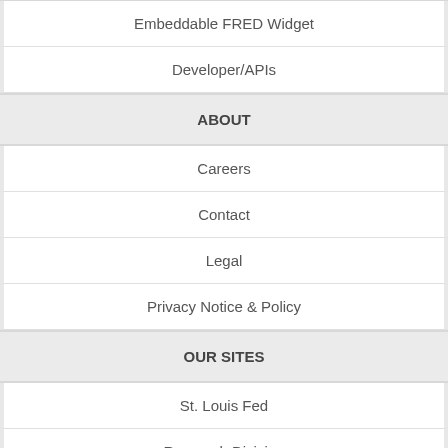Embeddable FRED Widget
Developer/APIs
ABOUT
Careers
Contact
Legal
Privacy Notice & Policy
OUR SITES
St. Louis Fed
Research Division
Education Resources
NEED HELP?
Questions or Comments
FRED Help
SUBSCRIBE TO THE FRED NEWSLETTER